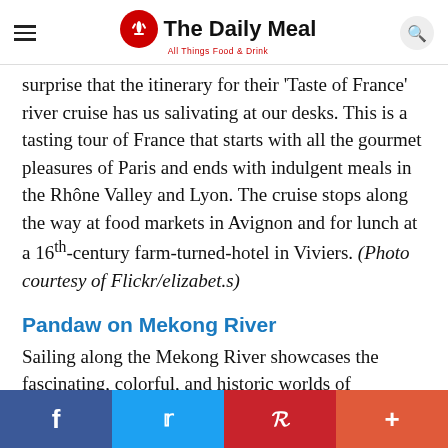The Daily Meal — All Things Food & Drink
surprise that the itinerary for their 'Taste of France' river cruise has us salivating at our desks. This is a tasting tour of France that starts with all the gourmet pleasures of Paris and ends with indulgent meals in the Rhône Valley and Lyon. The cruise stops along the way at food markets in Avignon and for lunch at a 16th-century farm-turned-hotel in Viviers. (Photo courtesy of Flickr/elizabet.s)
Pandaw on Mekong River
Sailing along the Mekong River showcases the fascinating, colorful, and historic worlds of
Facebook Twitter Pinterest +